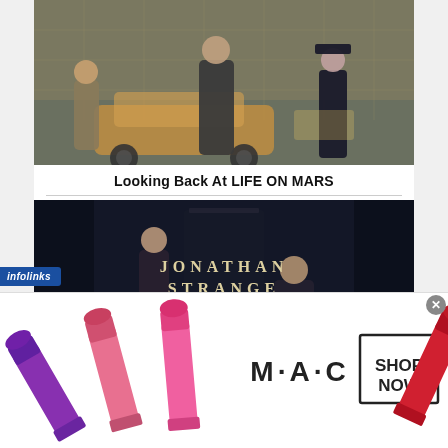[Figure (photo): Promotional photo for Life on Mars TV show — three characters standing in front of a 1970s car]
Looking Back At LIFE ON MARS
[Figure (photo): Promotional image for Jonathan Strange & Mr Norrell TV series — two characters in dark Victorian setting with title text overlay]
[Figure (photo): MAC cosmetics advertisement banner showing lipsticks, MAC logo, and SHOP NOW button]